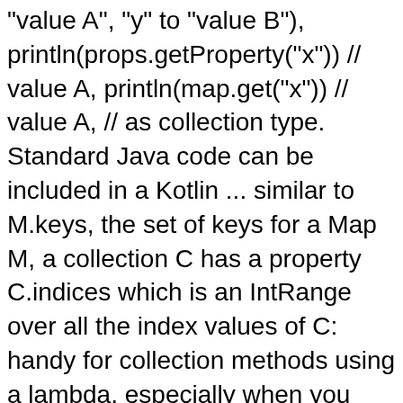"value A", "y" to "value B"), println(props.getProperty("x")) // value A, println(map.get("x")) // value A, // as collection type. Standard Java code can be included in a Kotlin ... similar to M.keys, the set of keys for a Map M, a collection C has a property C.indices which is an IntRange over all the index values of C: handy for collection methods using a lambda, especially when you need index values to assign to a mutable collection . Posts; Written by Natig Babayev on August 25, 2019. 1 Page (0) DRAFT: Kotlin Cheat Sheet. It's possible to have lambdas which, within them, use lambdas. Effective Kotlin: Prefer Sequence for big collections with more than one processing step. 1 Page ... Cheatography is a collection of 3989 cheat sheets and quick references in 25 languages for everything from business to google! A great cheat sheet focuses on the key learning material and skips the rest. Kotlin cheat Sheet Title: raywenderlich.com Kotlin Cheat Sheet and Quick Reference Author: raywenderlich.com Created Date: